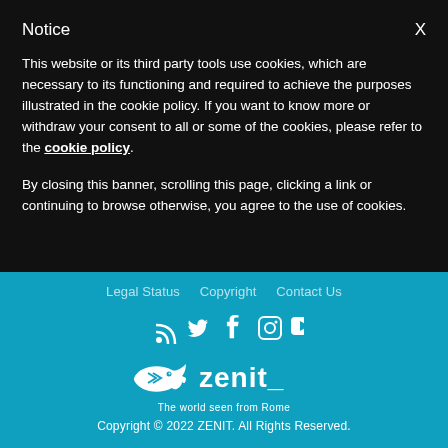Notice
This website or its third party tools use cookies, which are necessary to its functioning and required to achieve the purposes illustrated in the cookie policy. If you want to know more or withdraw your consent to all or some of the cookies, please refer to the cookie policy.
By closing this banner, scrolling this page, clicking a link or continuing to browse otherwise, you agree to the use of cookies.
Legal Status  Copyright  Contact Us
RSS  Twitter  Facebook  Instagram  YouTube
[Figure (logo): Zenit logo with fish/arrow icon and text 'zenit_' with tagline 'The world seen from Rome']
Copyright © 2022 ZENIT. All Rights Reserved.